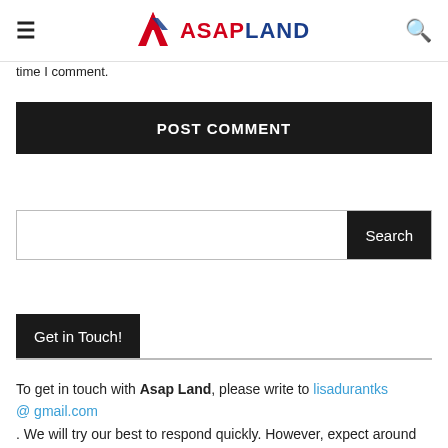ASAPLAND
time I comment.
POST COMMENT
[Figure (other): Search input bar with Search button]
Get in Touch!
To get in touch with Asap Land, please write to lisadurantks@gmail.com. We will try our best to respond quickly. However, expect around 24 hours to get a response.